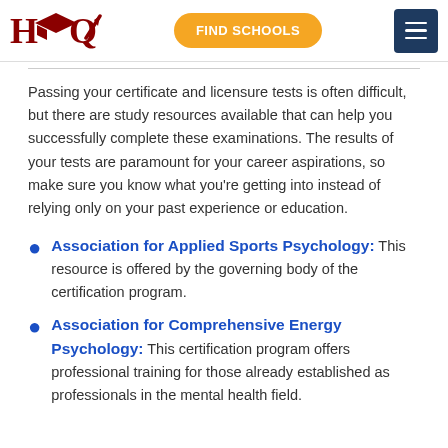HQ | FIND SCHOOLS
Passing your certificate and licensure tests is often difficult, but there are study resources available that can help you successfully complete these examinations. The results of your tests are paramount for your career aspirations, so make sure you know what you're getting into instead of relying only on your past experience or education.
Association for Applied Sports Psychology: This resource is offered by the governing body of the certification program.
Association for Comprehensive Energy Psychology: This certification program offers professional training for those already established as professionals in the mental health field.